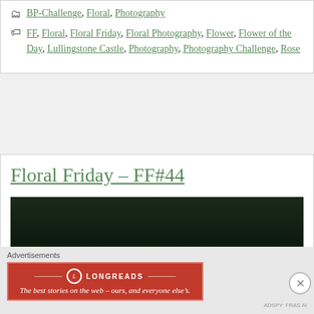BP-Challenge, Floral, Photography
FF, Floral, Floral Friday, Floral Photography, Flower, Flower of the Day, Lullingstone Castle, Photography, Photography Challenge, Rose
Floral Friday – FF#44
[Figure (photo): Dark green/black nature photograph, likely foliage or plant background]
Advertisements
[Figure (logo): Longreads advertisement banner: red background, white Longreads logo with tagline 'The best stories on the web – ours, and everyone else's.']